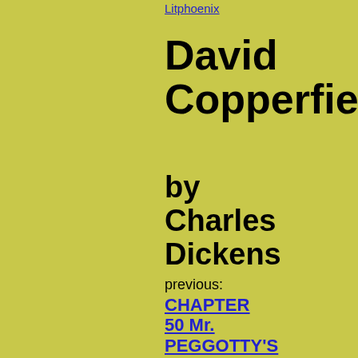Litphoenix
David Copperfield
by Charles Dickens
previous: CHAPTER 50 Mr. PEGGOTTY'S DREAM COMES TRUE